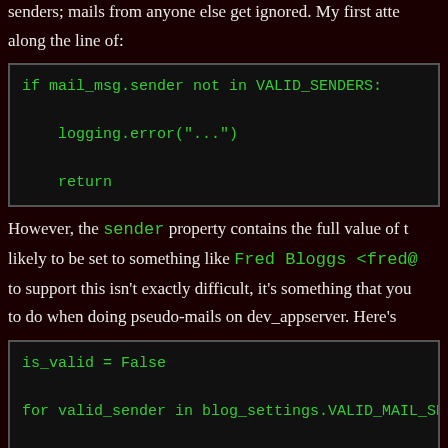senders; mails from anyone else get ignored. My first atte along the line of:
[Figure (screenshot): Code block showing Python snippet: if mail_msg.sender not in VALID_SENDERS: logging.error('...') return]
However, the sender property contains the full value of t likely to be set to something like Fred Bloggs <fred@ to support this isn't exactly difficult, it's something that you to do when doing pseudo-mails on dev_appserver. Here's
[Figure (screenshot): Code block showing Python snippet: is_valid = False, for valid_sender in blog_settings.VALID_MAIL_SENDERS:, if mail_msg.sender.find(valid_sender) >= 0:, is_valid = True, break, if not is_valid:, logging.error('Received mail from invalid sender \'%s\' -'), return]
Now, this isn't perfect by any means - it should probably l